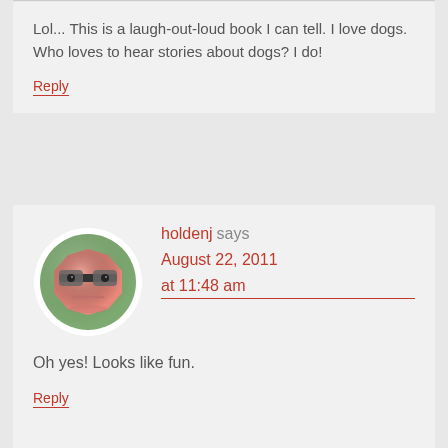Lol... This is a laugh-out-loud book I can tell. I love dogs. Who loves to hear stories about dogs? I do!
Reply
[Figure (illustration): Cartoon avatar: a grumpy octagonal face with sunglasses on a green circular background]
holdenj says August 22, 2011 at 11:48 am
Oh yes! Looks like fun.
Reply